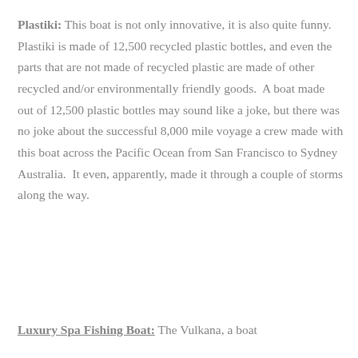Plastiki: This boat is not only innovative, it is also quite funny. Plastiki is made of 12,500 recycled plastic bottles, and even the parts that are not made of recycled plastic are made of other recycled and/or environmentally friendly goods. A boat made out of 12,500 plastic bottles may sound like a joke, but there was no joke about the successful 8,000 mile voyage a crew made with this boat across the Pacific Ocean from San Francisco to Sydney Australia. It even, apparently, made it through a couple of storms along the way.
Luxury Spa Fishing Boat: The Vulkana, a boat